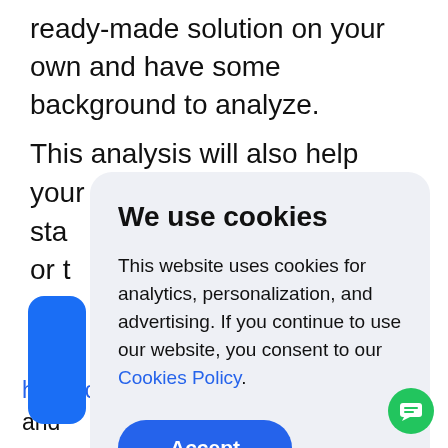ready-made solution on your own and have some background to analyze.
This analysis will also help your development par... sta... ud or t...
[Figure (screenshot): Cookie consent modal dialog with title 'We use cookies', body text about cookies policy, a blue Accept button, overlaid on a webpage background]
healthcare? Discover their benefits and...